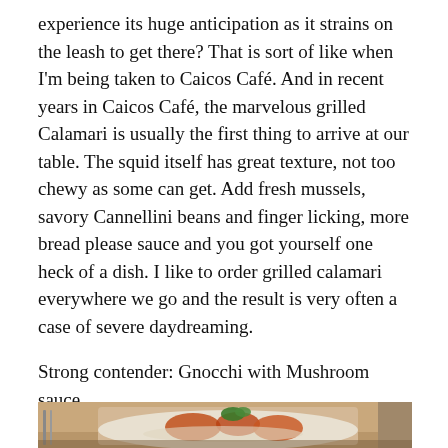experience its huge anticipation as it strains on the leash to get there?  That is sort of like when I'm being taken to Caicos Café.  And in recent years in Caicos Café, the marvelous grilled Calamari is usually the first thing to arrive at our table. The squid itself has great texture, not too chewy as some can get.  Add fresh mussels, savory Cannellini beans and finger licking, more bread please sauce and you got yourself one heck of a dish.  I  like to order grilled calamari everywhere we go and the result is very often a case of severe daydreaming.
Strong contender: Gnocchi with Mushroom sauce
[Figure (photo): A plate of food, likely gnocchi or similar dish with sauce, garnished with fresh herbs, on a white plate. Table setting visible in background.]